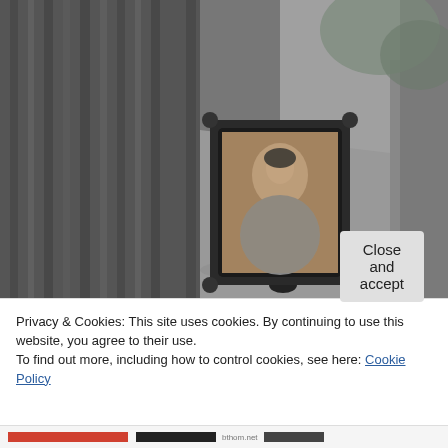[Figure (photo): Black and white photograph of a child walking along a path beside a wooden fence, carrying a large ornate framed portrait of a woman.]
Privacy & Cookies: This site uses cookies. By continuing to use this website, you agree to their use.
To find out more, including how to control cookies, see here: Cookie Policy
Close and accept